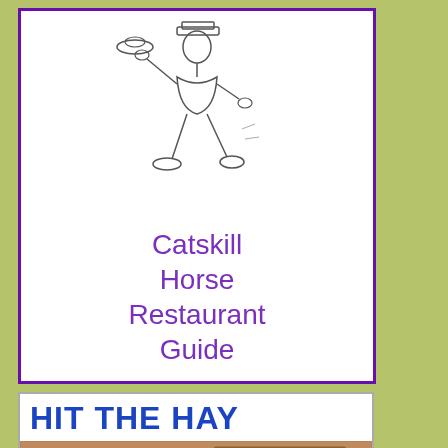[Figure (illustration): Catskill Horse Restaurant Guide cover: sketch of a cartoon waiter/figure walking briskly carrying a dish, with purple border and title text below]
[Figure (illustration): Hit The Hay cover: bold blue text 'HIT THE HAY' on white background above an illustrated scene of a rustic wooden bed frame with hay/straw on it, wood-paneled room with a window showing stars]